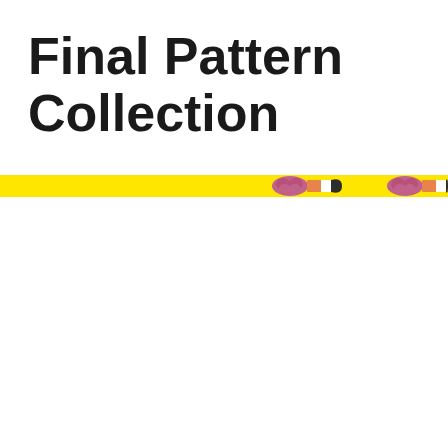Final Pattern Collection
[Figure (illustration): A horizontal decorative banner strip with a bright yellow background featuring repeating colorful pattern motifs including purple/mauve organic shapes, orange rectangles, white rectangles, and dark blue/black curved shapes arranged in a repeating sequence.]